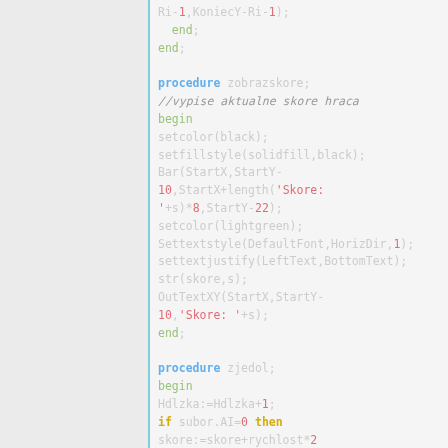[Figure (screenshot): Code editor screenshot showing Pascal source code with syntax highlighting. Left panel is grey, right panel shows code with colored keywords, identifiers, strings, and comments.]